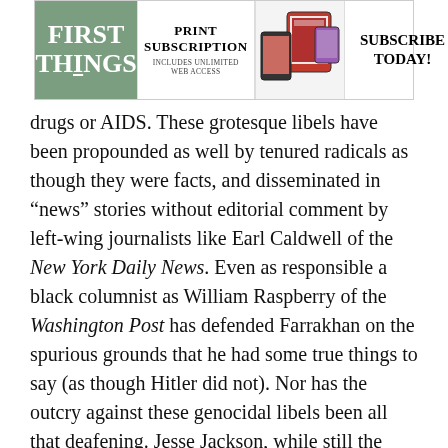[Figure (other): First Things magazine advertisement banner with logo, print subscription offer with unlimited web access, device images, and Subscribe Today call to action]
drugs or AIDS. These grotesque libels have been propounded as well by tenured radicals as though they were facts, and disseminated in “news” stories without editorial comment by left-wing journalists like Earl Caldwell of the New York Daily News. Even as responsible a black columnist as William Raspberry of the Washington Post has defended Farrakhan on the spurious grounds that he had some true things to say (as though Hitler did not). Nor has the outcry against these genocidal libels been all that deafening. Jesse Jackson, while still the leading Democratic politician in Chicago, chose to be silent during the public storm that broke after it was revealed that Cokely—then a high-salaried aide to the Democratic mayor—had accused Jewish doctors of injecting blacks with AIDS